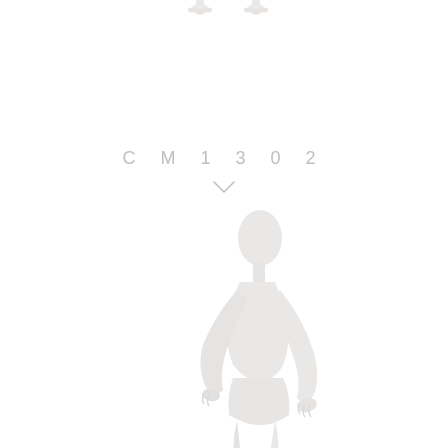[Figure (photo): White female mannequin shown from a side-angle view in walking pose, with abstract egg-shaped head, matte white finish, lower body cropped at thighs. At the top of the image two mannequin feet are visible hanging from above.]
CM1302